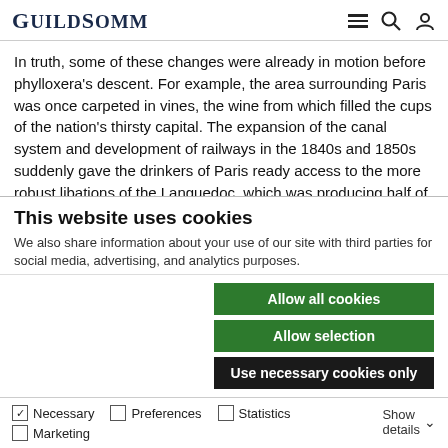GuildSomm
In truth, some of these changes were already in motion before phylloxera's descent. For example, the area surrounding Paris was once carpeted in vines, the wine from which filled the cups of the nation's thirsty capital. The expansion of the canal system and development of railways in the 1840s and 1850s suddenly gave the drinkers of Paris ready access to the more robust libations of the Languedoc, which was producing half of France's wine by the 1850s. As a result, the greater Parisian vineyards and much of the Yonne
This website uses cookies
We also share information about your use of our site with third parties for social media, advertising, and analytics purposes.
Allow all cookies
Allow selection
Use necessary cookies only
Necessary  Preferences  Statistics  Marketing  Show details